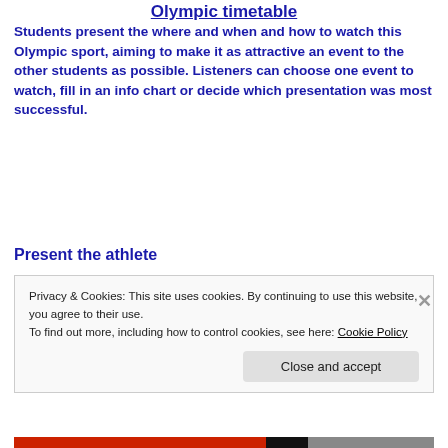Olympic timetable
Students present the where and when and how to watch this Olympic sport, aiming to make it as attractive an event to the other students as possible. Listeners can choose one event to watch, fill in an info chart or decide which presentation was most successful.
Present the athlete
Privacy & Cookies: This site uses cookies. By continuing to use this website, you agree to their use.
To find out more, including how to control cookies, see here: Cookie Policy
Close and accept